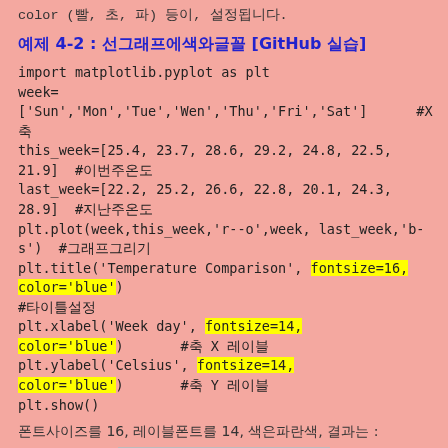color (빨, 초, 파) 등이, 설정됩니다.
예제 4-2 : 선그래프에색와글꼴 [GitHub 실습]
import matplotlib.pyplot as plt
week=['Sun','Mon','Tue','Wen','Thu','Fri','Sat']  #X 축
this_week=[25.4, 23.7, 28.6, 29.2, 24.8, 22.5, 21.9]  #이번주온도
last_week=[22.2, 25.2, 26.6, 22.8, 20.1, 24.3, 28.9]  #지난주온도
plt.plot(week,this_week,'r--o',week, last_week,'b-s')  #그래프그리기
plt.title('Temperature Comparison', fontsize=16, color='blue') #타이틀설정
plt.xlabel('Week day', fontsize=14, color='blue')  #축 X 레이블
plt.ylabel('Celsius', fontsize=14, color='blue')  #축 Y 레이블
plt.show()
폰트사이즈를 16, 레이블폰트를 14, 색은파란색, 결과는 :
[Figure (line-chart): Temperature Comparison chart showing two lines - red dashed line for this_week and blue solid line for last_week, partially visible]